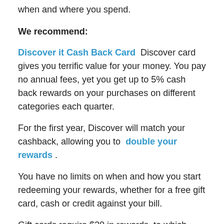when and where you spend.
We recommend:
Discover it Cash Back Card  Discover card gives you terrific value for your money. You pay no annual fees, yet you get up to 5% cash back rewards on your purchases on different categories each quarter.
For the first year, Discover will match your cashback, allowing you to  double your rewards .
You have no limits on when and how you start redeeming your rewards, whether for a free gift card, cash or credit against your bill.
Gift cards require $20 in rewards, to which Discover will give you an additional $5 in credit, giving you $25 gift card